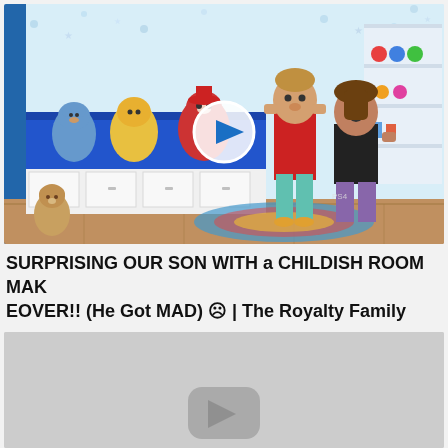[Figure (screenshot): YouTube video thumbnail showing two people (a boy in red shirt and a woman in black top) in a children's bedroom decorated with PAW Patrol stuffed animals, a blue bed with white drawers, shelves with toys, and a colorful rug. A white play button circle is overlaid in the center.]
SURPRISING OUR SON WITH a CHILDISH ROOM MAKEOVER!! (He Got MAD) ☹ | The Royalty Family
[Figure (screenshot): Partially visible second video thumbnail showing a gray/light background with a YouTube logo placeholder visible at the bottom center.]